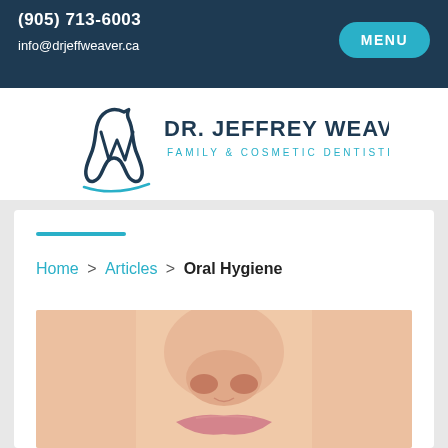(905) 713-6003
info@drjeffweaver.ca
[Figure (logo): Dr. Jeffrey Weaver Family & Cosmetic Dentistry logo with tooth graphic]
Home > Articles > Oral Hygiene
[Figure (photo): Close-up photo of a person's nose and lips, showing smooth skin, for an oral hygiene article]